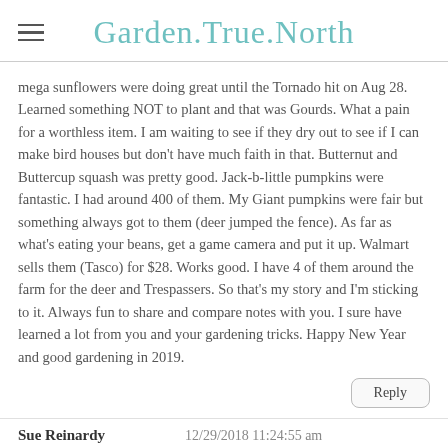Garden True North
mega sunflowers were doing great until the Tornado hit on Aug 28. Learned something NOT to plant and that was Gourds. What a pain for a worthless item. I am waiting to see if they dry out to see if I can make bird houses but don't have much faith in that. Butternut and Buttercup squash was pretty good. Jack-b-little pumpkins were fantastic. I had around 400 of them. My Giant pumpkins were fair but something always got to them (deer jumped the fence). As far as what's eating your beans, get a game camera and put it up. Walmart sells them (Tasco) for $28. Works good. I have 4 of them around the farm for the deer and Trespassers. So that's my story and I'm sticking to it. Always fun to share and compare notes with you. I sure have learned a lot from you and your gardening tricks. Happy New Year and good gardening in 2019.
Reply
Sue Reinardy   12/29/2018 11:24:55 am
That is a pretty good evaluation for your garden